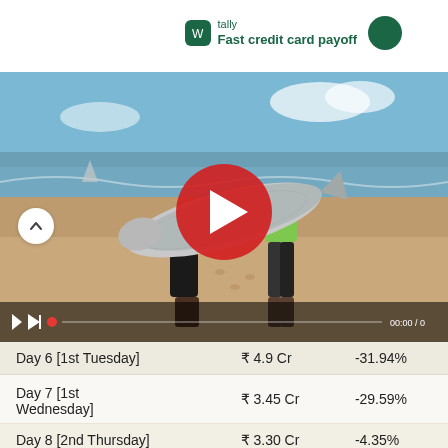tally Fast credit card payoff
[Figure (screenshot): Video player showing two people on a beach holding a large fish, with a red play button overlay and video controls at bottom. Beach scene with ocean in background.]
| Day | Amount | Change |
| --- | --- | --- |
| Day 6 [1st Tuesday] | ₹ 4.9 Cr | -31.94% |
| Day 7 [1st Wednesday] | ₹ 3.45 Cr | -29.59% |
| Day 8 [2nd Thursday] | ₹ 3.30 Cr | -4.35% |